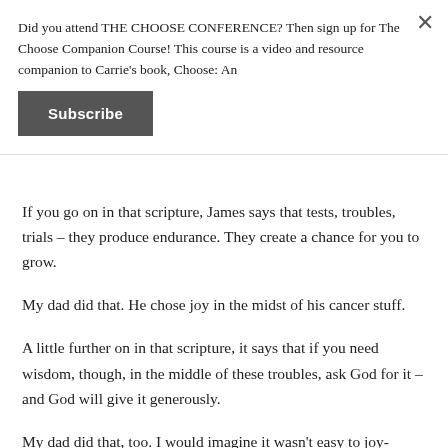Did you attend THE CHOOSE CONFERENCE? Then sign up for The Choose Companion Course! This course is a video and resource companion to Carrie's book, Choose: An
Subscribe
If you go on in that scripture, James says that tests, troubles, trials – they produce endurance. They create a chance for you to grow.
My dad did that. He chose joy in the midst of his cancer stuff.
A little further on in that scripture, it says that if you need wisdom, though, in the middle of these troubles, ask God for it – and God will give it generously.
My dad did that, too. I would imagine it wasn't easy to joy-